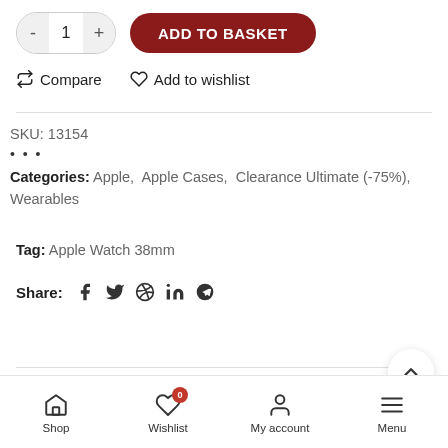[Figure (screenshot): E-commerce product page section showing quantity selector with minus, 1, plus buttons and a dark red ADD TO BASKET button]
Compare   Add to wishlist
SKU: 13154
...
Categories: Apple, Apple Cases, Clearance Ultimate (-75%), Wearables
Tag: Apple Watch 38mm
Share: f  twitter  pinterest  in  telegram
DESCRIPTION
Shop   Wishlist 0   My account   Menu